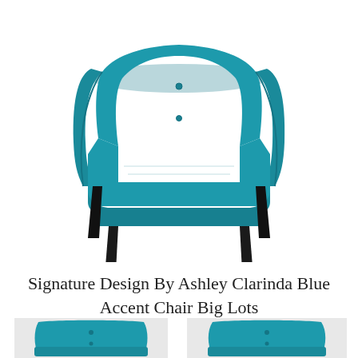[Figure (photo): A teal/blue upholstered accent chair with tufted back, sweeping arms, and dark tapered wooden legs, shown on a white background. Signature Design By Ashley Clarinda Blue Accent Chair.]
Signature Design By Ashley Clarinda Blue Accent Chair Big Lots
[Figure (photo): Thumbnail view of the Ashley Clarinda Blue Accent Chair, close-up of the tufted back and seat, left panel.]
[Figure (photo): Thumbnail view of the Ashley Clarinda Blue Accent Chair, close-up of the tufted back and seat, right panel.]